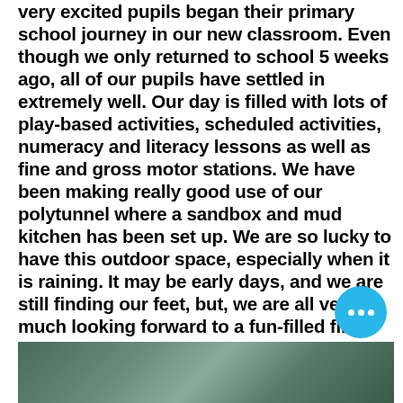very excited pupils began their primary school journey in our new classroom. Even though we only returned to school 5 weeks ago, all of our pupils have settled in extremely well. Our day is filled with lots of play-based activities, scheduled activities, numeracy and literacy lessons as well as fine and gross motor stations. We have been making really good use of our polytunnel where a sandbox and mud kitchen has been set up. We are so lucky to have this outdoor space, especially when it is raining. It may be early days, and we are still finding our feet, but, we are all very much looking forward to a fun-filled first term.
[Figure (photo): A partial photo strip at the bottom of the page showing what appears to be children or classroom activity]